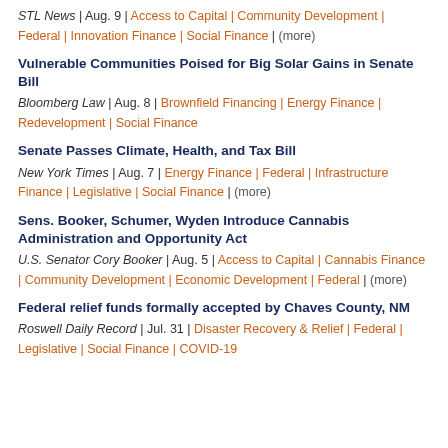[partial title clipped] STL News | Aug. 9 | Access to Capital | Community Development | Federal | Innovation Finance | Social Finance | (more)
Vulnerable Communities Poised for Big Solar Gains in Senate Bill — Bloomberg Law | Aug. 8 | Brownfield Financing | Energy Finance | Redevelopment | Social Finance
Senate Passes Climate, Health, and Tax Bill — New York Times | Aug. 7 | Energy Finance | Federal | Infrastructure Finance | Legislative | Social Finance | (more)
Sens. Booker, Schumer, Wyden Introduce Cannabis Administration and Opportunity Act — U.S. Senator Cory Booker | Aug. 5 | Access to Capital | Cannabis Finance | Community Development | Economic Development | Federal | (more)
Federal relief funds formally accepted by Chaves County, NM — Roswell Daily Record | Jul. 31 | Disaster Recovery & Relief | Federal | Legislative | Social Finance | COVID-19